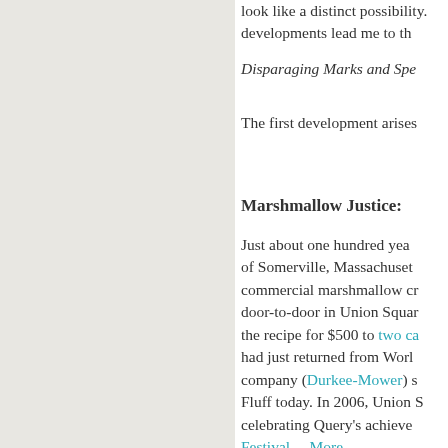look like a distinct possibility. developments lead me to th
Disparaging Marks and Spe
The first development arises
Marshmallow Justice:
Just about one hundred yea of Somerville, Massachuset commercial marshmallow cr door-to-door in Union Squar the recipe for $500 to two ca had just returned from Worl company (Durkee-Mower) s Fluff today. In 2006, Union S celebrating Query's achieve Festival,... More